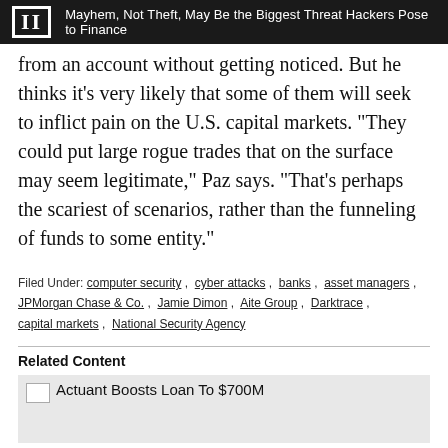II  Mayhem, Not Theft, May Be the Biggest Threat Hackers Pose to Finance
from an account without getting noticed. But he thinks it's very likely that some of them will seek to inflict pain on the U.S. capital markets. “They could put large rogue trades that on the surface may seem legitimate,” Paz says. “That’s perhaps the scariest of scenarios, rather than the funneling of funds to some entity.”
Filed Under: computer security , cyber attacks , banks , asset managers , JPMorgan Chase & Co. , Jamie Dimon , Aite Group , Darktrace , capital markets , National Security Agency
Related Content
Actuant Boosts Loan To $700M